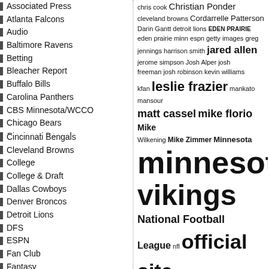Associated Press
Atlanta Falcons
Audio
Baltimore Ravens
Betting
Bleacher Report
Buffalo Bills
Carolina Panthers
CBS Minnesota/WCCO
Chicago Bears
Cincinnati Bengals
Cleveland Browns
College
College & Draft
Dallas Cowboys
Denver Broncos
Detroit Lions
DFS
ESPN
Fan Club
Fantasy
Features
Fox Sports North
[Figure (infographic): Tag cloud of Minnesota Vikings related terms. Largest terms: minnesota (huge), vikings (giant), official site (xxxl), Pro Football (xxl), ProFootball Talk (xl). Smaller terms include: chris cook, Christian Ponder, cleveland browns, Cordarrelle Patterson, Darin Gantt, detroit lions, EDEN PRAIRIE, eden prairie minn, espn, getty images, greg jennings, harrison smith, jared allen, jerome simpson, Josh Alper, josh freeman, josh robinson, kevin williams, kfan, leslie frazier, mankato, mansour, matt cassel, mike florio, Mike Wilkening, Mike Zimmer, Minnesota, National Football League, nfl, preseason game, rick spielman, seahawks, sportswire, Teddy Bridgewater, the Minnesota Vikings, Toby Gerhart, Xavier Rhodes]